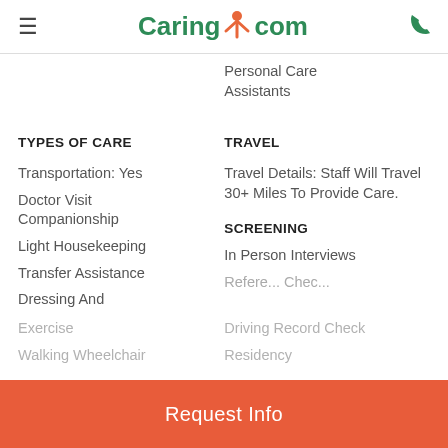Caring.com
Personal Care Assistants
TYPES OF CARE
TRAVEL
Transportation: Yes
Travel Details: Staff Will Travel 30+ Miles To Provide Care.
Doctor Visit Companionship
SCREENING
Light Housekeeping
In Person Interviews
Transfer Assistance
Dressing And
Exercise
Driving Record Check
Walking Wheelchair
Residency
Request Info